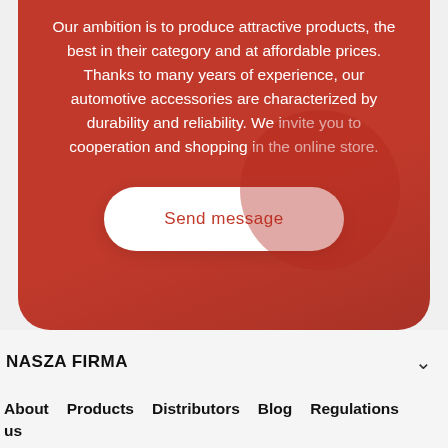Our ambition is to produce attractive products, the best in their category and at affordable prices. Thanks to many years of experience, our automotive accessories are characterized by durability and reliability. We invite you to cooperation and shopping in the online store.
Send message
NASZA FIRMA
About us
Products
Distributors
Blog
Regulations